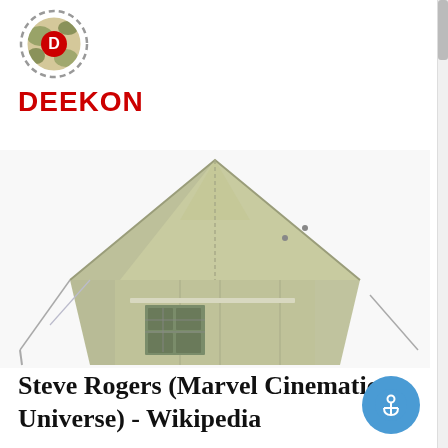[Figure (logo): DEEKON logo with camouflage-patterned circular icon above red bold text DEEKON]
[Figure (photo): Large olive-green military canvas tent with peaked roof, visible window panel, and guy ropes, on white background]
Steve Rogers (Marvel Cinematic Universe) - Wikipedia
Peggy Carter. Origin. Brooklyn, New York, United States. Nationality. American. Steven Grant "Steve" Rogers is a fictional character primarily portrayed by Chris Evans in the Marvel Cinematic Universe (MCU) media franchise —based on the Marvel Comics character of the same name —commonly known alias, Captain America.
[Figure (illustration): Blue circular button with white anchor icon]